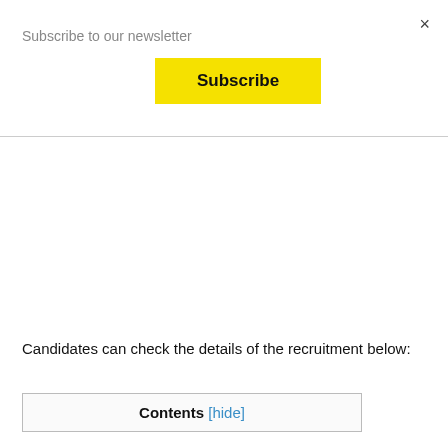Subscribe to our newsletter
[Figure (other): Yellow Subscribe button]
×
Candidates can check the details of the recruitment below:
Contents [hide]